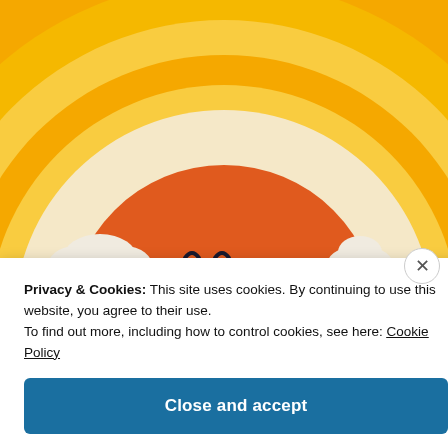[Figure (illustration): Cheerful sunrise illustration with an orange circular sun with closed eyes and a smile, surrounded by white fluffy clouds, set against a yellow-to-cream gradient background with concentric semicircle rays.]
Privacy & Cookies: This site uses cookies. By continuing to use this website, you agree to their use.
To find out more, including how to control cookies, see here: Cookie Policy
Close and accept